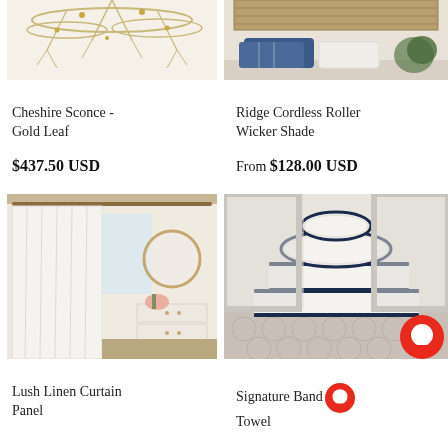[Figure (photo): Cheshire Sconce Gold Leaf decorative wall sconce with branch/twig design, partial view at top]
[Figure (photo): Ridge Cordless Roller Wicker Shade shown on window with blue and white pillows on window seat]
Cheshire Sconce - Gold Leaf
$437.50 USD
Ridge Cordless Roller Wicker Shade
From $128.00 USD
[Figure (photo): Lush Linen Curtain Panel - white sheer curtains hanging in a neutral bedroom with round mirror and dresser]
[Figure (photo): Signature Banded Towel - white folded towels with navy/dark trim stacked on tiled surface]
Lush Linen Curtain Panel
Signature Banded Towel